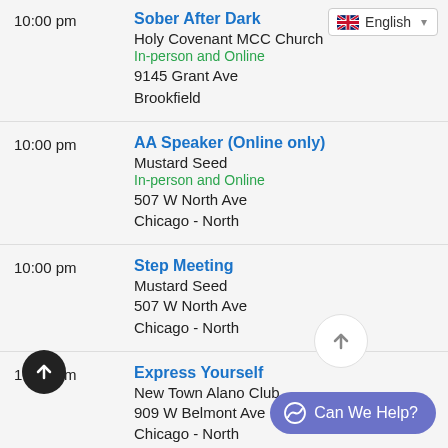10:00 pm | Sober After Dark | Holy Covenant MCC Church | In-person and Online | 9145 Grant Ave | Brookfield
10:00 pm | AA Speaker (Online only) | Mustard Seed | In-person and Online | 507 W North Ave | Chicago - North
10:00 pm | Step Meeting | Mustard Seed | 507 W North Ave | Chicago - North
10:00 pm | Express Yourself | New Town Alano Club | 909 W Belmont Ave | Chicago - North
11:00 pm | When We Retire at Night